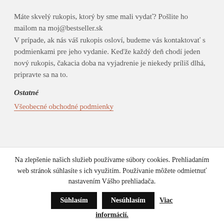Máte skvelý rukopis, ktorý by sme mali vydať? Pošlite ho mailom na moj@bestseller.sk
V prípade, ak nás váš rukopis osloví, budeme vás kontaktovať s podmienkami pre jeho vydanie. Keďže každý deň chodí jeden nový rukopis, čakacia doba na vyjadrenie je niekedy príliš dlhá, pripravte sa na to.
Ostatné
Všeobecné obchodné podmienky
Na zlepšenie našich služieb používame súbory cookies. Prehliadaním web stránok súhlasíte s ich využitím. Používanie môžete odmietnuť nastavením Vášho prehliadača.
Súhlasím | Nesúhlasím | Viac informácií.